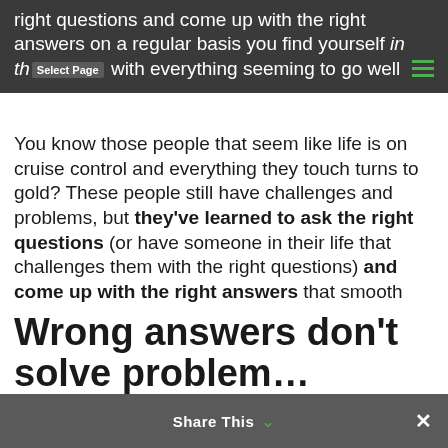right questions and come up with the right answers on a regular basis you find yourself in th [Select Page] with everything seeming to go well
You know those people that seem like life is on cruise control and everything they touch turns to gold? These people still have challenges and problems, but they've learned to ask the right questions (or have someone in their life that challenges them with the right questions) and come up with the right answers that smooth things out for them.
When you don't ask the right questions, you can't possibly come up with the right answer for your situation.
Wrong answers don't solve problem…
Share This ×